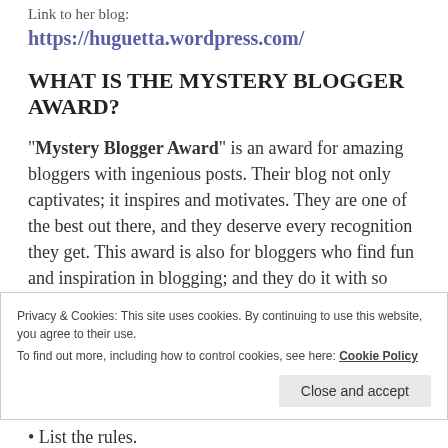Link to her blog:
https://huguetta.wordpress.com/
WHAT IS THE MYSTERY BLOGGER AWARD?
“Mystery Blogger Award” is an award for amazing bloggers with ingenious posts. Their blog not only captivates; it inspires and motivates. They are one of the best out there, and they deserve every recognition they get. This award is also for bloggers who find fun and inspiration in blogging; and they do it with so much love and passion.
Okoto Enigma:
Privacy & Cookies: This site uses cookies. By continuing to use this website, you agree to their use.
To find out more, including how to control cookies, see here: Cookie Policy
List the rules.